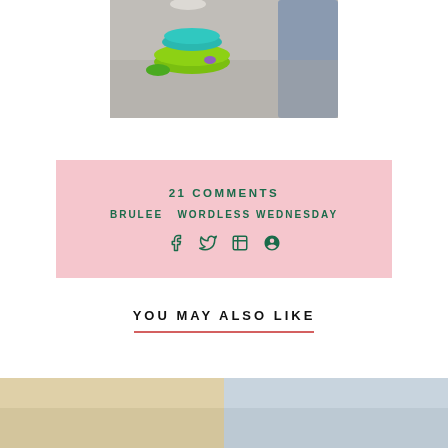[Figure (photo): Photo of a green and teal circular cat toy on gray carpet, with blue fabric/couch visible at the right edge.]
21 COMMENTS
BRULEE  WORDLESS WEDNESDAY
[Figure (other): Social media share icons: Facebook, Twitter, Tumblr, Pinterest]
YOU MAY ALSO LIKE
[Figure (photo): Thumbnail image (bottom left), warm beige tones]
[Figure (photo): Thumbnail image (bottom right), cool gray-blue tones]